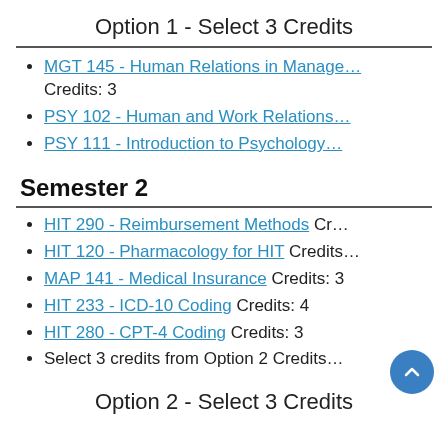Option 1 - Select 3 Credits
MGT 145 - Human Relations in Management Credits: 3
PSY 102 - Human and Work Relations
PSY 111 - Introduction to Psychology
Semester 2
HIT 290 - Reimbursement Methods Credits:
HIT 120 - Pharmacology for HIT Credits:
MAP 141 - Medical Insurance Credits: 3
HIT 233 - ICD-10 Coding Credits: 4
HIT 280 - CPT-4 Coding Credits: 3
Select 3 credits from Option 2 Credits:
Option 2 - Select 3 Credits